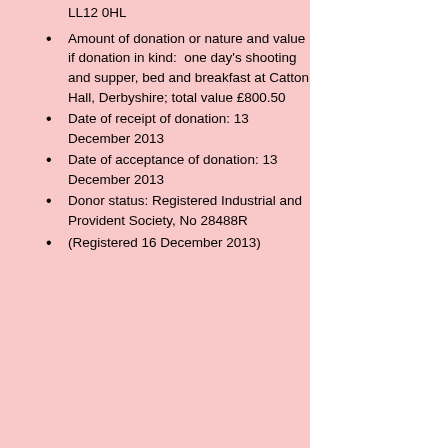LL12 0HL
Amount of donation or nature and value if donation in kind: one day's shooting and supper, bed and breakfast at Catton Hall, Derbyshire; total value £800.50
Date of receipt of donation: 13 December 2013
Date of acceptance of donation: 13 December 2013
Donor status: Registered Industrial and Provident Society, No 28488R
(Registered 16 December 2013)